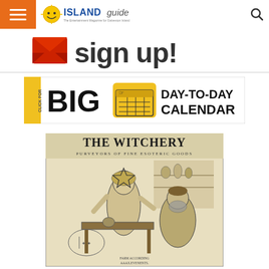Galveston Island Guide — The Entertainment Magazine for Galveston Island
[Figure (infographic): Sign up! promotional banner with envelope icon and bold text]
[Figure (infographic): Click for BIG Day-to-Day Calendar advertisement banner with yellow fist/calendar graphic]
[Figure (illustration): The Witchery - Purveyors of Fine Esoteric Goods vintage engraving illustration showing a figure with a pentagram crown writing at a desk with an older bearded man beside them, shelves of jars in the background]